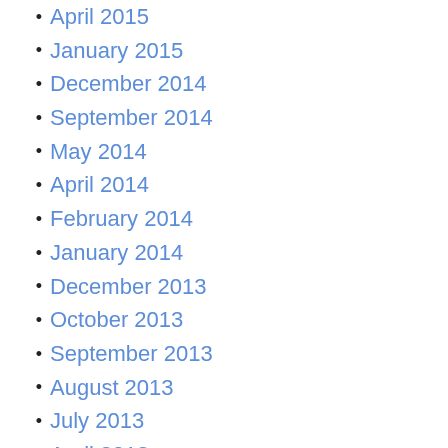April 2015
January 2015
December 2014
September 2014
May 2014
April 2014
February 2014
January 2014
December 2013
October 2013
September 2013
August 2013
July 2013
April 2013
March 2013
December 2012
November 2012